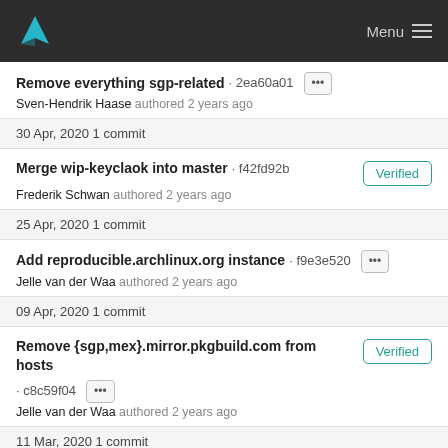Menu
Remove everything sgp-related · 2ea60a01 [···]
Sven-Hendrik Haase authored 2 years ago
30 Apr, 2020 1 commit
Merge wip-keyclaok into master · f42fd92b [Verified]
Frederik Schwan authored 2 years ago
25 Apr, 2020 1 commit
Add reproducible.archlinux.org instance · f9e3e520 [···]
Jelle van der Waa authored 2 years ago
09 Apr, 2020 1 commit
Remove {sgp,mex}.mirror.pkgbuild.com from hosts · c8c59f04 [···] [Verified]
Jelle van der Waa authored 2 years ago
11 Mar, 2020 1 commit